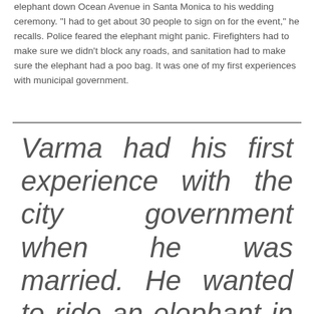elephant down Ocean Avenue in Santa Monica to his wedding ceremony. "I had to get about 30 people to sign on for the event," he recalls. Police feared the elephant might panic. Firefighters had to make sure we didn't block any roads, and sanitation had to make sure the elephant had a poo bag. It was one of my first experiences with municipal government.
Varma had his first experience with the city government when he was married. He wanted to ride an elephant in his wedding procession. "I had to get